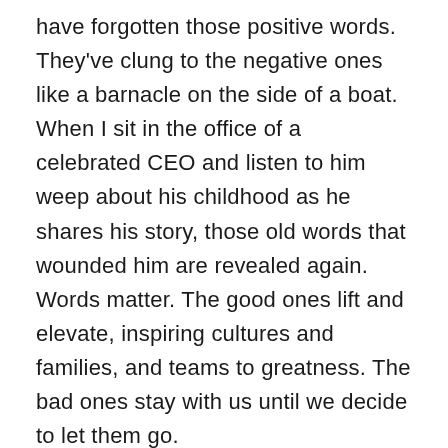have forgotten those positive words. They've clung to the negative ones like a barnacle on the side of a boat. When I sit in the office of a celebrated CEO and listen to him weep about his childhood as he shares his story, those old words that wounded him are revealed again. Words matter. The good ones lift and elevate, inspiring cultures and families, and teams to greatness. The bad ones stay with us until we decide to let them go.
Investing in words is the biggest investment you can make. They add value to your life and